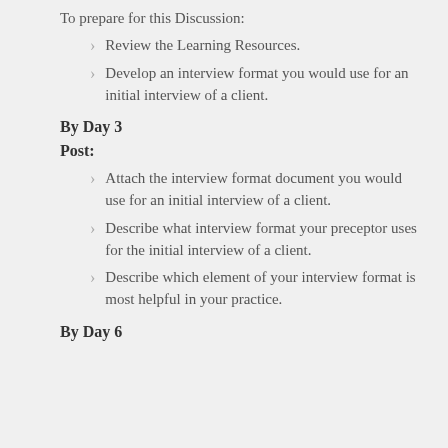To prepare for this Discussion:
Review the Learning Resources.
Develop an interview format you would use for an initial interview of a client.
By Day 3
Post:
Attach the interview format document you would use for an initial interview of a client.
Describe what interview format your preceptor uses for the initial interview of a client.
Describe which element of your interview format is most helpful in your practice.
By Day 6